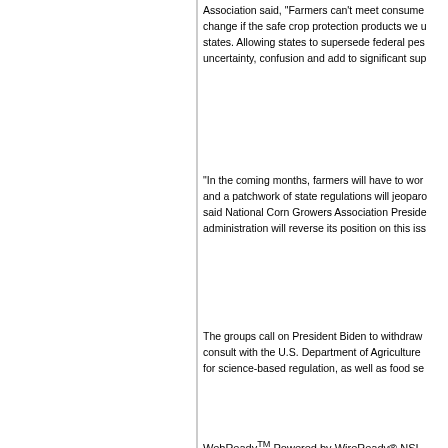Association said, "Farmers can't meet consumer demand for change if the safe crop protection products we use in other states. Allowing states to supersede federal pesticide rules uncertainty, confusion and add to significant supply
"In the coming months, farmers will have to worry about and a patchwork of state regulations will jeopardize said National Corn Growers Association President administration will reverse its position on this issue
The groups call on President Biden to withdraw consult with the U.S. Department of Agriculture for science-based regulation, as well as food security
WebReadyTM Powered by WireReady® NSI
Top Agricultural News
Op-ed: What Does Equity in Agriculture Matter
NIAA's Animal Agriculture Leaders Take a Ri